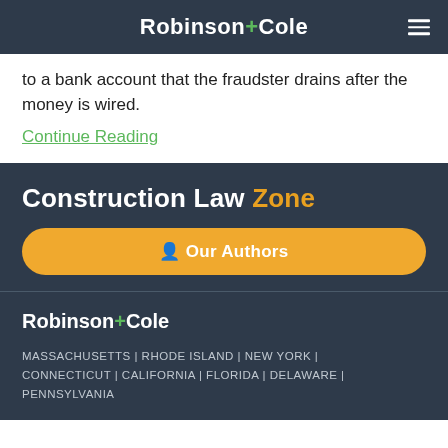Robinson+Cole
to a bank account that the fraudster drains after the money is wired.
Continue Reading
Construction Law Zone
Our Authors
[Figure (logo): Robinson+Cole logo in white and green on dark navy background]
MASSACHUSETTS | RHODE ISLAND | NEW YORK | CONNECTICUT | CALIFORNIA | FLORIDA | DELAWARE | PENNSYLVANIA